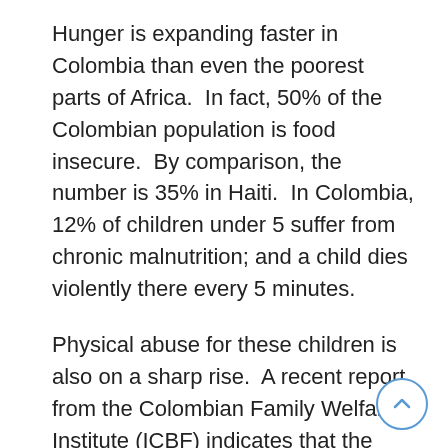Hunger is expanding faster in Colombia than even the poorest parts of Africa.  In fact, 50% of the Colombian population is food insecure.  By comparison, the number is 35% in Haiti.  In Colombia, 12% of children under 5 suffer from chronic malnutrition; and a child dies violently there every 5 minutes.
Physical abuse for these children is also on a sharp rise.  A recent report from the Colombian Family Welfare Institute (ICBF) indicates that the number of complaints of mistreatment of children has almost doubled, from 2006 to 2011, with a 100% rise in cases of sexual abuse.  The abuse includes child prostitution, pornography, and sex tourism involving minors.  Many suffer other forms of psychological and physical